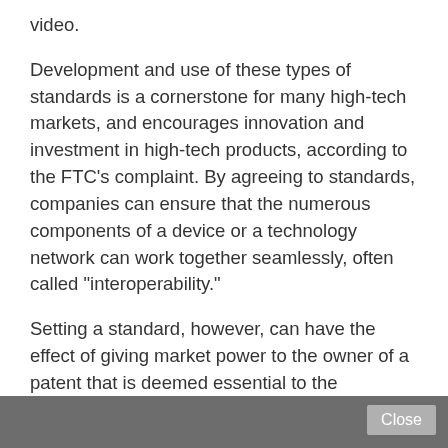video.
Development and use of these types of standards is a cornerstone for many high-tech markets, and encourages innovation and investment in high-tech products, according to the FTC's complaint. By agreeing to standards, companies can ensure that the numerous components of a device or a technology network can work together seamlessly, often called "interoperability."
Setting a standard, however, can have the effect of giving market power to the owner of a patent that is deemed essential to the standard, according to the agency. That